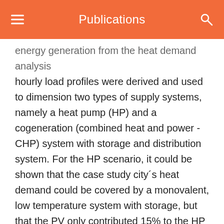Publications
energy generation from the heat demand analysis hourly load profiles were derived and used to dimension two types of supply systems, namely a heat pump (HP) and a cogeneration (combined heat and power - CHP) system with storage and distribution system. For the HP scenario, it could be shown that the case study city´s heat demand could be covered by a monovalent, low temperature system with storage, but that the PV only contributed 15% to the HP electricity requirement. For the CHP scenario, only 61% of the heat demand could be covered by the CHP, as it was designed for a minimum of 4,000 operating hours. Both the PV and the CHP electricity are fully injected into the grid. As a result, the primary energy comparison of both systems strongly depends on the chosen primary energy factors (PEF): with given German regulations the CHP system